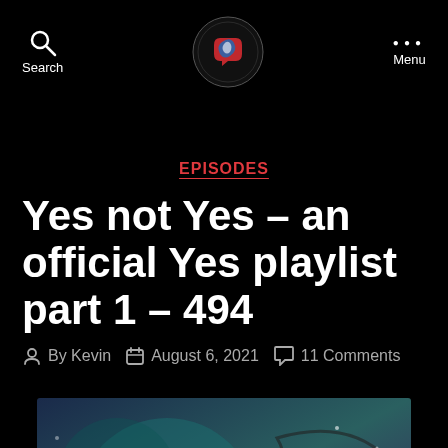Search | [Logo] | Menu
EPISODES
Yes not Yes – an official Yes playlist part 1 – 494
By Kevin  August 6, 2021  11 Comments
[Figure (illustration): Cartoon illustration of a group of animated characters with a large stylized 'Yes' logo/text on the right side, set against a teal/purple background]